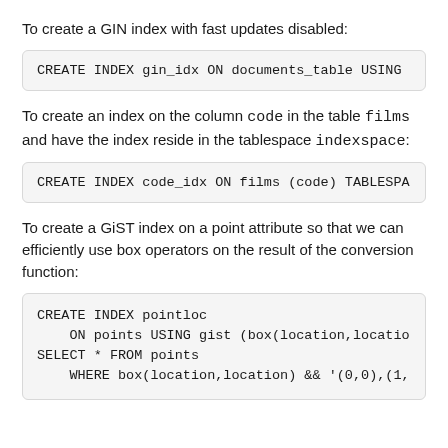To create a GIN index with fast updates disabled:
CREATE INDEX gin_idx ON documents_table USING
To create an index on the column code in the table films and have the index reside in the tablespace indexspace:
CREATE INDEX code_idx ON films (code) TABLESPA
To create a GiST index on a point attribute so that we can efficiently use box operators on the result of the conversion function:
CREATE INDEX pointloc
    ON points USING gist (box(location,locatio
SELECT * FROM points
    WHERE box(location,location) && '(0,0),(1,